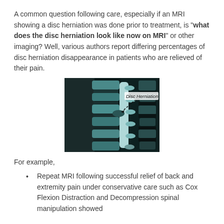A common question following care, especially if an MRI showing a disc herniation was done prior to treatment, is "what does the disc herniation look like now on MRI" or other imaging? Well, various authors report differing percentages of disc herniation disappearance in patients who are relieved of their pain.
[Figure (photo): MRI sagittal image of the cervical/lumbar spine showing a disc herniation, with a label 'Disc Herniation' and a dashed arrow pointing to the herniation site.]
For example,
Repeat MRI following successful relief of back and extremity pain under conservative care such as Cox Flexion Distraction and Decompression spinal manipulation showed